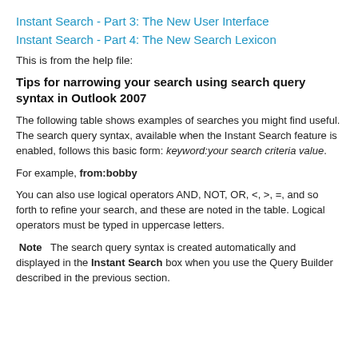Instant Search - Part 3: The New User Interface
Instant Search - Part 4: The New Search Lexicon
This is from the help file:
Tips for narrowing your search using search query syntax in Outlook 2007
The following table shows examples of searches you might find useful. The search query syntax, available when the Instant Search feature is enabled, follows this basic form: keyword:your search criteria value.
For example, from:bobby
You can also use logical operators AND, NOT, OR, <, >, =, and so forth to refine your search, and these are noted in the table. Logical operators must be typed in uppercase letters.
Note   The search query syntax is created automatically and displayed in the Instant Search box when you use the Query Builder described in the previous section.